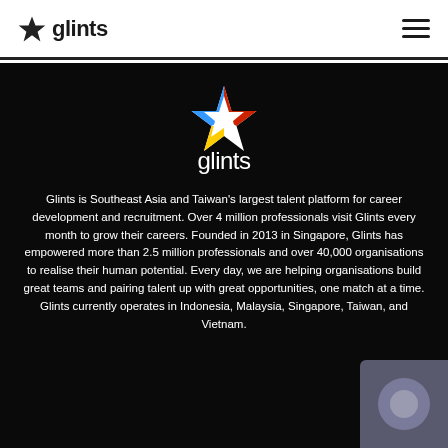[Figure (logo): Glints logo in header navigation bar — dark star icon with 'glints' text]
[Figure (logo): Large Glints logo on dark background — colorful star (blue, red, yellow) above white 'glints' wordmark]
Glints is Southeast Asia and Taiwan's largest talent platform for career development and recruitment. Over 4 million professionals visit Glints every month to grow their careers. Founded in 2013 in Singapore, Glints has empowered more than 2.5 million professionals and over 40,000 organisations to realise their human potential. Every day, we are helping organisations build great teams and pairing talent up with great opportunities, one match at a time. Glints currently operates in Indonesia, Malaysia, Singapore, Taiwan, and Vietnam.